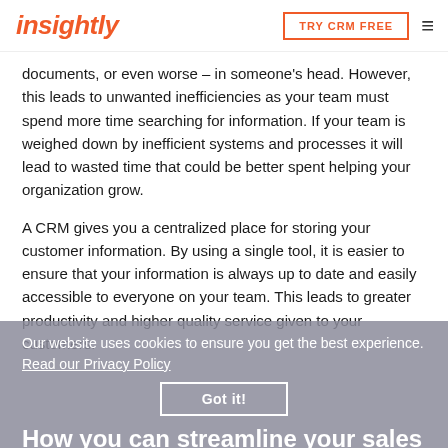insightly | TRY CRM FREE
documents, or even worse – in someone's head. However, this leads to unwanted inefficiencies as your team must spend more time searching for information. If your team is weighed down by inefficient systems and processes it will lead to wasted time that could be better spent helping your organization grow.
A CRM gives you a centralized place for storing your customer information. By using a single tool, it is easier to ensure that your information is always up to date and easily accessible to everyone on your team. This leads to greater productivity and higher quality service given to your customers.
Our website uses cookies to ensure you get the best experience. Read our Privacy Policy
Got it!
How you can streamline your sales